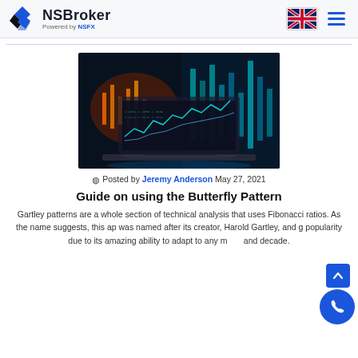NSBroker — Powered by NSFX
[Figure (photo): Laptop with financial trading charts and data visualizations glowing in blue and orange tones against a dark background]
Posted by Jeremy Anderson May 27, 2021
Guide on using the Butterfly Pattern
Gartley patterns are a whole section of technical analysis that uses Fibonacci ratios. As the name suggests, this approach was named after its creator, Harold Gartley, and gained popularity due to its amazing ability to adapt to any market and decade.